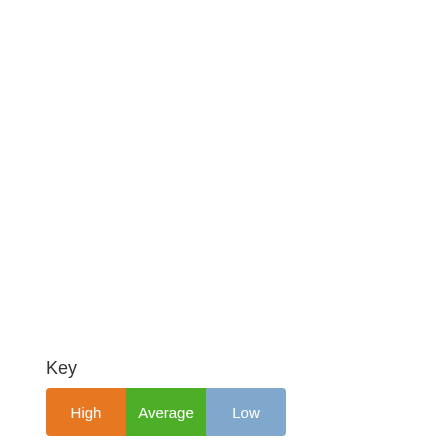Key
[Figure (other): Legend showing three colored boxes labeled High (orange), Average (green), and Low (blue)]
North Kansas City Temperatures (Celsius)